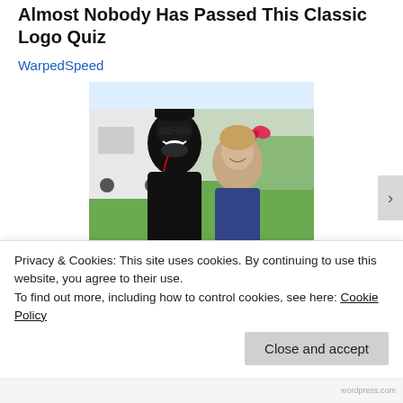Almost Nobody Has Passed This Classic Logo Quiz
WarpedSpeed
[Figure (photo): A smiling man with sunglasses and a beard wearing a black jacket posing with a young girl with a pink bow in her hair, outdoors near a white vehicle with green grass in the background.]
[Pics] Girl Gives Garbage
Privacy & Cookies: This site uses cookies. By continuing to use this website, you agree to their use.
To find out more, including how to control cookies, see here: Cookie Policy
Close and accept